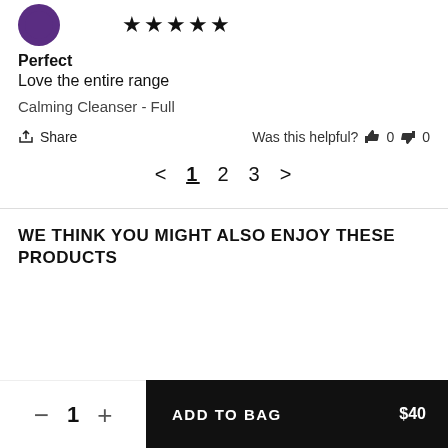[Figure (illustration): Purple avatar circle with 5 gold/black star rating]
Perfect
Love the entire range
Calming Cleanser - Full
Share   Was this helpful?  👍 0  👎 0
< 1 2 3 >
WE THINK YOU MIGHT ALSO ENJOY THESE PRODUCTS
— 1 +  ADD TO BAG  $40